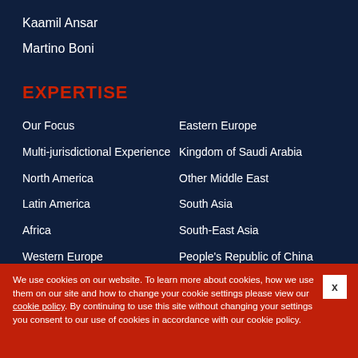Kaamil Ansar
Martino Boni
EXPERTISE
Our Focus
Eastern Europe
Multi-jurisdictional Experience
Kingdom of Saudi Arabia
North America
Other Middle East
Latin America
South Asia
Africa
South-East Asia
Western Europe
People's Republic of China
European Union
South Korea/Taiwan
We use cookies on our website. To learn more about cookies, how we use them on our site and how to change your cookie settings please view our cookie policy. By continuing to use this site without changing your settings you consent to our use of cookies in accordance with our cookie policy.